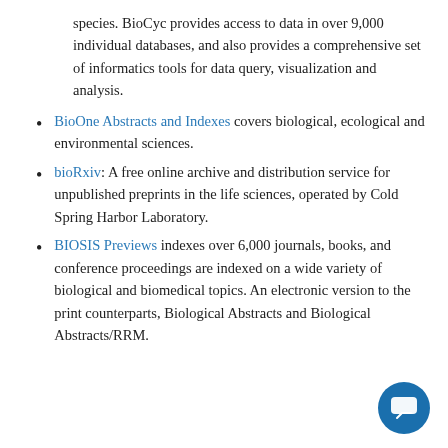species. BioCyc provides access to data in over 9,000 individual databases, and also provides a comprehensive set of informatics tools for data query, visualization and analysis.
BioOne Abstracts and Indexes covers biological, ecological and environmental sciences.
bioRxiv: A free online archive and distribution service for unpublished preprints in the life sciences, operated by Cold Spring Harbor Laboratory.
BIOSIS Previews indexes over 6,000 journals, books, and conference proceedings are indexed on a wide variety of biological and biomedical topics. An electronic version to the print counterparts, Biological Abstracts and Biological Abstracts/RRM.